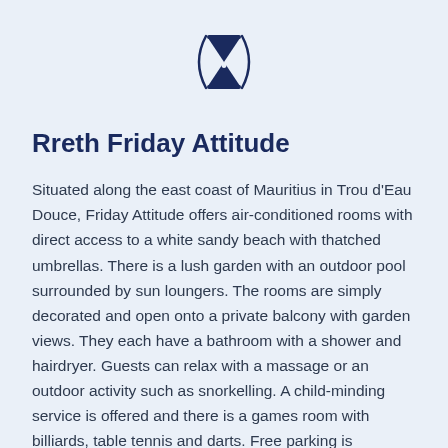[Figure (illustration): Hourglass icon in dark navy color, with a curved arc/bracket on either side, centered at the top of the page]
Rreth Friday Attitude
Situated along the east coast of Mauritius in Trou d'Eau Douce, Friday Attitude offers air-conditioned rooms with direct access to a white sandy beach with thatched umbrellas. There is a lush garden with an outdoor pool surrounded by sun loungers. The rooms are simply decorated and open onto a private balcony with garden views. They each have a bathroom with a shower and hairdryer. Guests can relax with a massage or an outdoor activity such as snorkelling. A child-minding service is offered and there is a games room with billiards, table tennis and darts. Free parking is available at Friday Attitude and Sir Seewoosagur Ramgoolam International Airport is a 60-minute drive away. Free Wi-Fi